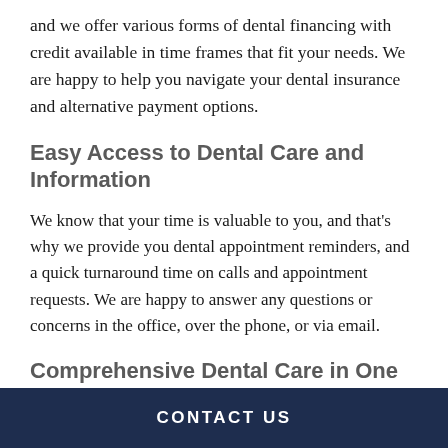and we offer various forms of dental financing with credit available in time frames that fit your needs. We are happy to help you navigate your dental insurance and alternative payment options.
Easy Access to Dental Care and Information
We know that your time is valuable to you, and that's why we provide you dental appointment reminders, and a quick turnaround time on calls and appointment requests. We are happy to answer any questions or concerns in the office, over the phone, or via email.
Comprehensive Dental Care in One Location
At Buck Family Dentistry, we are qualified to handle all
CONTACT US